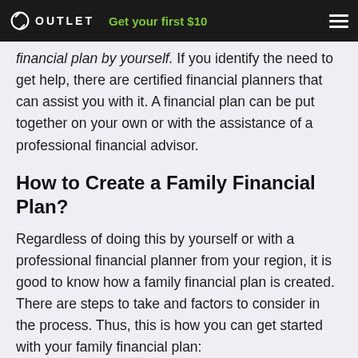OUTLET  Get your first $10
financial plan by yourself. If you identify the need to get help, there are certified financial planners that can assist you with it. A financial plan can be put together on your own or with the assistance of a professional financial advisor.
How to Create a Family Financial Plan?
Regardless of doing this by yourself or with a professional financial planner from your region, it is good to know how a family financial plan is created. There are steps to take and factors to consider in the process. Thus, this is how you can get started with your family financial plan: